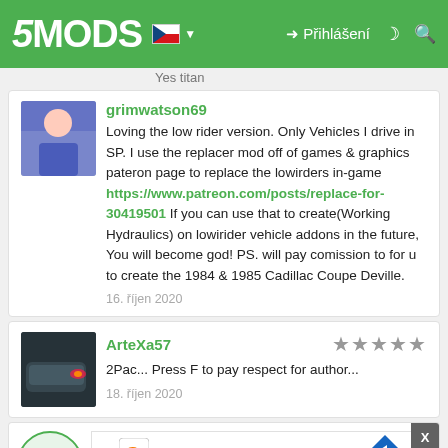5MODS | Přihlášení
Yes titan
grimwatson69
Loving the low rider version. Only Vehicles I drive in SP. I use the replacer mod off of games & graphics pateron page to replace the lowirders in-game https://www.patreon.com/posts/replace-for-30419501 If you can use that to create(Working Hydraulics) on lowirider vehicle addons in the future, You will become god! PS. will pay comission to for u to create the 1984 & 1985 Cadillac Coupe Deville.
16. říjen 2020
ArteXa57
★★★★★
2Pac... Press F to pay respect for author...
18. říjen 2020